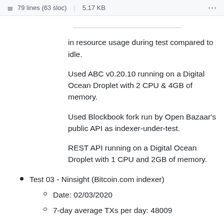79 lines (63 sloc)  |  5.17 KB  ...
in resource usage during test compared to idle.
Used ABC v0.20.10 running on a Digital Ocean Droplet with 2 CPU & 4GB of memory.
Used Blockbook fork run by Open Bazaar's public API as indexer-under-test.
REST API running on a Digital Ocean Droplet with 1 CPU and 2GB of memory.
Test 03 - Ninsight (Bitcoin.com indexer)
Date: 02/03/2020
7-day average TXs per day: 48009